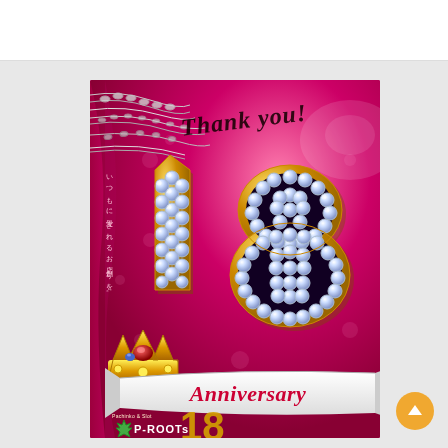[Figure (illustration): 18th Anniversary promotional poster for P-ROOTs (Pachinko & Slot chain). Magenta/hot-pink background with gold '18' numerals encrusted with diamonds/crystals, a gold crown with red gem, silver chain jewelry at top-left, white ribbon banner reading 'Anniversary' in cursive red script, 'Thank you!' in italic script at top, Japanese vertical text on left side, and P-ROOTs logo at bottom.]